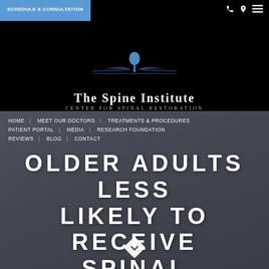[Figure (logo): The Spine Institute Center for Spinal Restoration logo with stylized spine/wing graphic on black background]
SCHEDULE A CONSULTATION
HOME | MEET OUR DOCTORS | TREATMENTS & PROCEDURES | PATIENT PORTAL | MEDIA | RESEARCH FOUNDATION | REVIEWS | BLOG | CONTACT
OLDER ADULTS LESS LIKELY TO RECEIVE SPINAL SURGERY